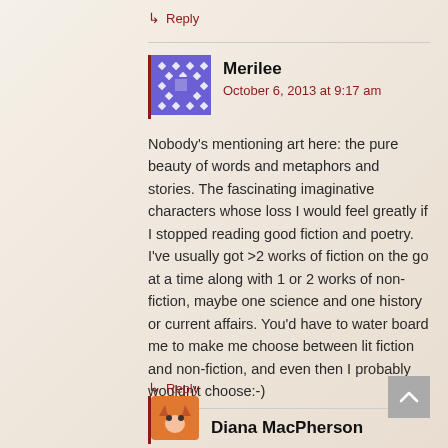↳ Reply
Merilee
October 6, 2013 at 9:17 am
Nobody's mentioning art here: the pure beauty of words and metaphors and stories. The fascinating imaginative characters whose loss I would feel greatly if I stopped reading good fiction and poetry. I've usually got >2 works of fiction on the go at a time along with 1 or 2 works of non-fiction, maybe one science and one history or current affairs. You'd have to water board me to make me choose between lit fiction and non-fiction, and even then I probably wouldn't choose:-)
↳ Reply
Diana MacPherson